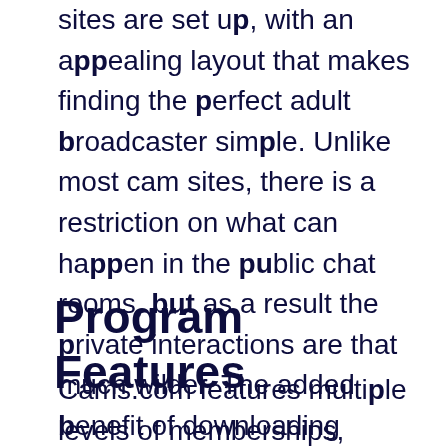sites are set up, with an appealing layout that makes finding the perfect adult broadcaster simple. Unlike most cam sites, there is a restriction on what can happen in the public chat rooms, but as a result the private interactions are that much wilder. The added benefit of downloading recorded shows and joining fan clubs helps set Cams.com apart from the competition. Create your free account!
Program Features
Cams.com features multiple levels of memberships, everything from free and